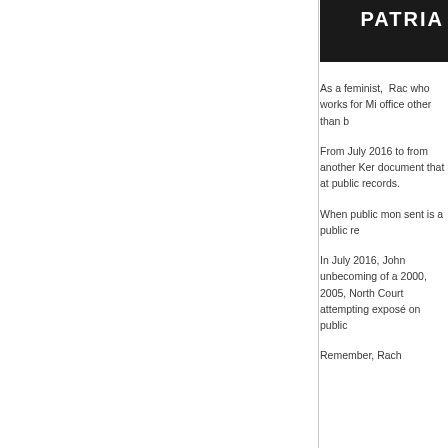[Figure (photo): Partial photo of a person with text 'PATRIA' visible on a sign or banner behind them, dark background]
As a feminist,  Rac who works for Mi office other than b
From July 2016 to from another Ker document that at public records.
When public mon sent is a public re
In July 2016, John unbecoming of a 2000, 2005, North Court attempting exposé on public
Remember, Rach